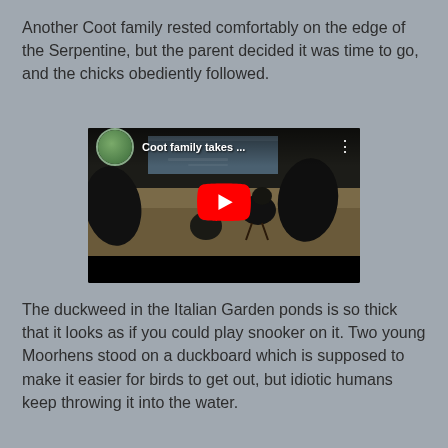Another Coot family rested comfortably on the edge of the Serpentine, but the parent decided it was time to go, and the chicks obediently followed.
[Figure (screenshot): Embedded YouTube video thumbnail showing Coot chicks on rocky shore near water, with play button overlay. Title reads 'Coot family takes ...']
The duckweed in the Italian Garden ponds is so thick that it looks as if you could play snooker on it. Two young Moorhens stood on a duckboard which is supposed to make it easier for birds to get out, but idiotic humans keep throwing it into the water.